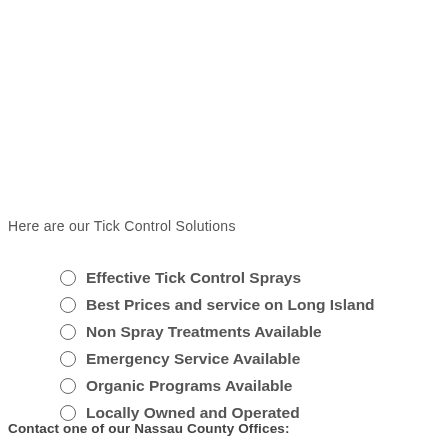Here are our Tick Control Solutions
Effective Tick Control Sprays
Best Prices and service on Long Island
Non Spray Treatments Available
Emergency Service Available
Organic Programs Available
Locally Owned and Operated
Contact one of our Nassau County Offices: